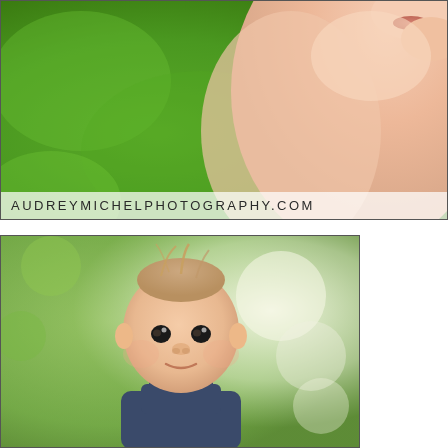[Figure (photo): Close-up photo of a baby's torso and lower face against a vivid green blurred background. The baby is shirtless. A watermark 'AUDREYMICHELPHOTOGRAPHY.COM' appears at the bottom of the image.]
[Figure (photo): Portrait photo of a baby/toddler with short wispy hair, wearing dark denim overalls, looking at the camera. Background is a softly blurred outdoor scene with green foliage and light bokeh.]